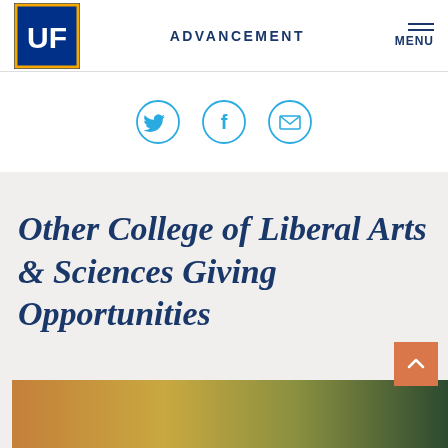[Figure (logo): University of Florida UF logo — white UF letters on dark blue background with gold border]
ADVANCEMENT
MENU
[Figure (infographic): Three cyan circle social share icons: Twitter bird, Facebook f, and envelope/email, arranged horizontally]
Other College of Liberal Arts & Sciences Giving Opportunities
[Figure (photo): Partial view of a warm-toned gradient image at the bottom of the page]